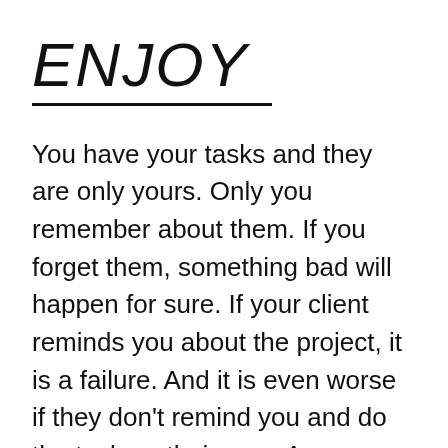ENJOY
You have your tasks and they are only yours. Only you remember about them. If you forget them, something bad will happen for sure. If your client reminds you about the project, it is a failure. And it is even worse if they don't remind you and do the task on their own. Anyway, Bad Consequences are sure to arrive. And all these things are very likely to happen in a company